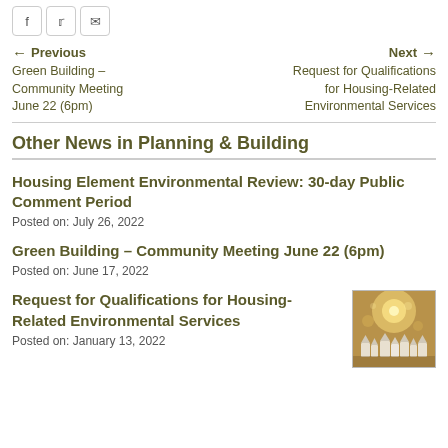Social share buttons: Facebook, Twitter, Email
Previous: Green Building – Community Meeting June 22 (6pm) | Next: Request for Qualifications for Housing-Related Environmental Services
Other News in Planning & Building
Housing Element Environmental Review: 30-day Public Comment Period
Posted on: July 26, 2022
Green Building – Community Meeting June 22 (6pm)
Posted on: June 17, 2022
Request for Qualifications for Housing-Related Environmental Services
Posted on: January 13, 2022
[Figure (photo): Small thumbnail image showing white miniature houses lit with warm golden bokeh light background]